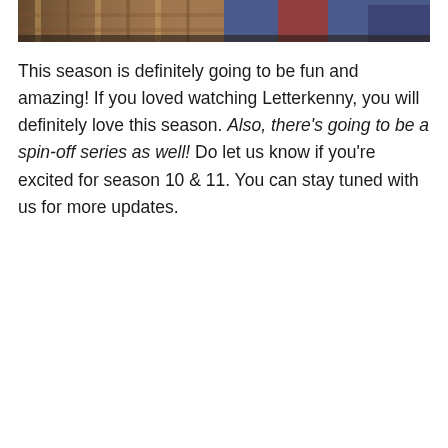[Figure (photo): A partial photo showing people in casual clothing — one wearing a plaid shirt on the left, one in a blue outfit in the middle, and one in jeans on the right.]
This season is definitely going to be fun and amazing! If you loved watching Letterkenny, you will definitely love this season. Also, there's going to be a spin-off series as well! Do let us know if you're excited for season 10 & 11. You can stay tuned with us for more updates.